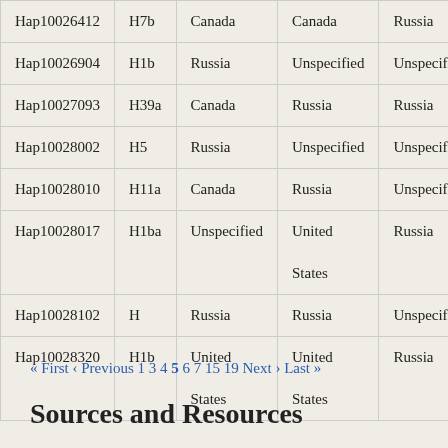| Hap10026412 | H7b | Canada | Canada | Russia |
| Hap10026904 | H1b | Russia | Unspecified | Unspecified |
| Hap10027093 | H39a | Canada | Russia | Russia |
| Hap10028002 | H5 | Russia | Unspecified | Unspecified |
| Hap10028010 | H11a | Canada | Russia | Unspecified |
| Hap10028017 | H1ba | Unspecified | United States | Russia |
| Hap10028102 | H | Russia | Russia | Unspecified |
| Hap10028320 | H1b | United States | United States | Russia |
« First ‹ Previous 1 3 4 5 6 7 15 19 Next › Last »
Sources and Resources